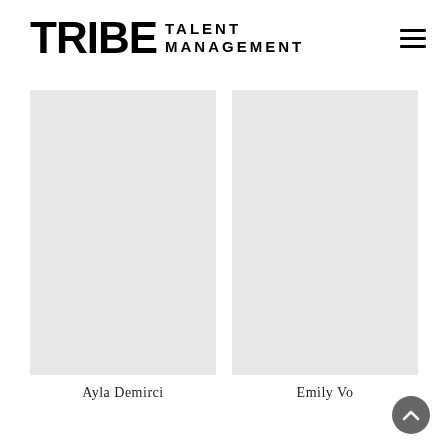[Figure (logo): Tribe Talent Management logo with bold TRIBE text and TALENT MANAGEMENT wordmark]
[Figure (photo): Photo of talent Ayla Demirci (placeholder grey box)]
Ayla Demirci
[Figure (photo): Photo of talent Emily Vo (placeholder grey box)]
Emily Vo